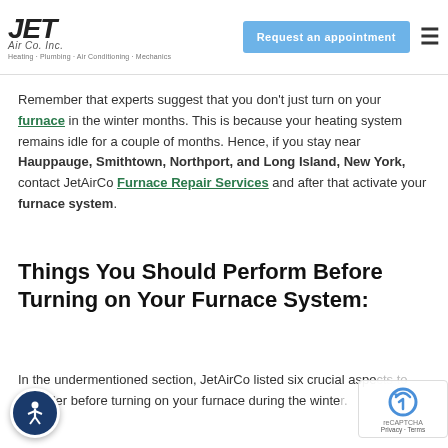through the season. Regularly, they do this by supplanting their material frameworks or even their windows. Undoubtedly, these are good choices. However, do you know furnace maintenance to keep them comfortable?
JET Air Co. Inc. — Heating · Plumbing · Air Conditioning · Mechanics — Request an appointment
Remember that experts suggest that you don't just turn on your furnace in the winter months. This is because your heating system remains idle for a couple of months. Hence, if you stay near Hauppauge, Smithtown, Northport, and Long Island, New York, contact JetAirCo Furnace Repair Services and after that activate your furnace system.
Things You Should Perform Before Turning on Your Furnace System:
In the undermentioned section, JetAirCo listed six crucial aspects to consider before turning on your furnace during the winter.